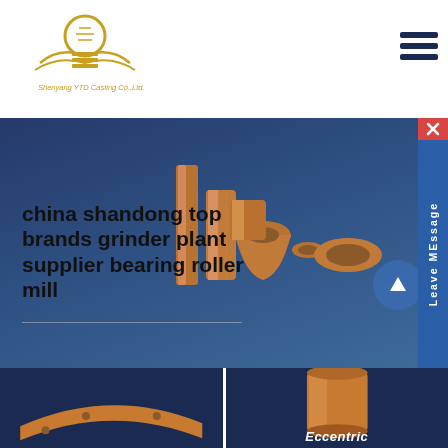[Figure (logo): Shenyang YTD Casting Co., Ltd. logo — golden circular lamp bulb with wings and horizontal lines, company name below in gold text]
[Figure (infographic): Hamburger menu icon (three dark horizontal lines) in top right corner]
[Figure (infographic): Blue sidebar with X close button and vertical text 'Leave MEssage']
china shandong top brands grinder plant supplier bearing roller mill
[Figure (photo): Collection of copper/bronze industrial castings — cylindrical bushings, flanged sleeves, bearing shells, and other cast parts arranged on dark background]
[Figure (photo): Close-up of an orange copper curved bearing shell/pad with bolt holes on dark background (left product card)]
Eccentric
[Figure (photo): Copper/bronze cylindrical bushing/sleeve on dark background (right product card)]